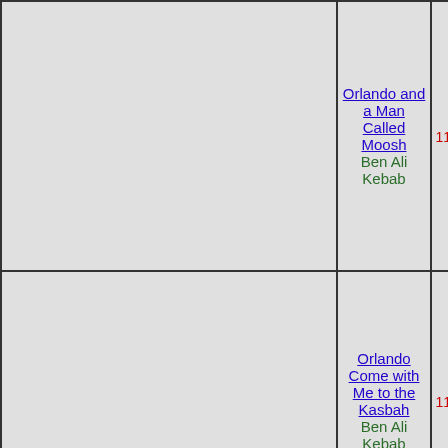|  | Title/Venue | Num |
| --- | --- | --- |
|  | Orlando and a Man Called Moosh
Ben Ali Kebab | 11/0 |
|  | Orlando Come with Me to the Kasbah
Ben Ali Kebab | 11/1 |
|  | Orlando Orlando and a Man Called Moosh: The Man Called Moosh
Ben Ali Kebab | 11/2 |
|  | Orlando Only a Camel
Ben Ali Kebab | 11/2 |